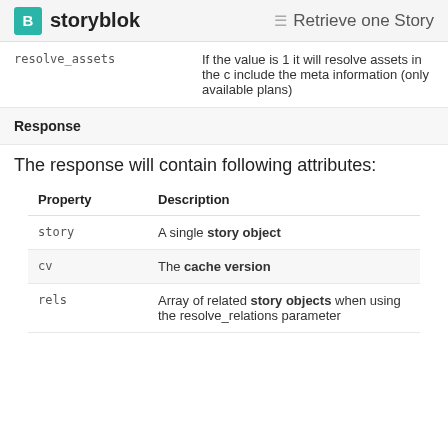storyblok  Retrieve one Story
|  |  |
| --- | --- |
| resolve_assets | If the value is 1 it will resolve assets in the c include the meta information (only available plans) |
| Response |  |
The response will contain following attributes:
| Property | Description |
| --- | --- |
| story | A single story object |
| cv | The cache version |
| rels | Array of related story objects when using the resolve_relations parameter |